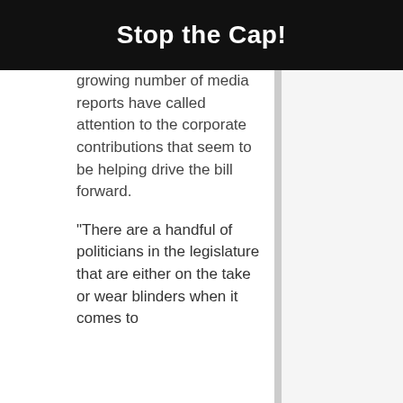Stop the Cap!
growing number of media reports have called attention to the corporate contributions that seem to be helping drive the bill forward.
“There are a handful of politicians in the legislature that are either on the take or wear blinders when it comes to